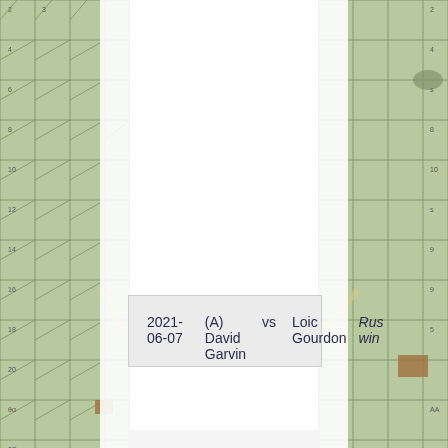[Figure (illustration): Background showing hexagonal wargame map tiles on left and right sides, with white overlay in the center. The map has green terrain hexes with grid lines.]
| Date | Player A | vs | Player B | Result |
| --- | --- | --- | --- | --- |
| 2021-06-07 | (A) David Garvin | vs | Loic Gourdon | Rus win |